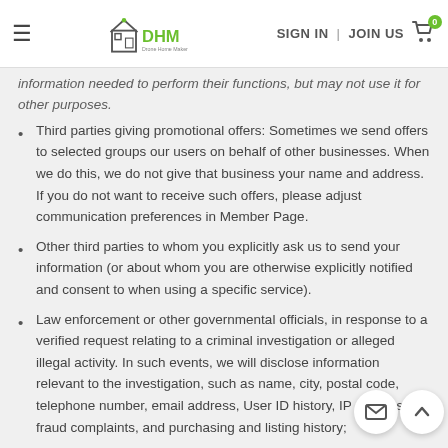DHM - Drone Home Maker | SIGN IN | JOIN US
information needed to perform their functions, but may not use it for other purposes.
Third parties giving promotional offers: Sometimes we send offers to selected groups our users on behalf of other businesses. When we do this, we do not give that business your name and address. If you do not want to receive such offers, please adjust communication preferences in Member Page.
Other third parties to whom you explicitly ask us to send your information (or about whom you are otherwise explicitly notified and consent to when using a specific service).
Law enforcement or other governmental officials, in response to a verified request relating to a criminal investigation or alleged illegal activity. In such events, we will disclose information relevant to the investigation, such as name, city, postal code, telephone number, email address, User ID history, IP address, fraud complaints, and purchasing and listing history;
Brand Protection Program participants under confidentiality agreement, as we in our sole discretion believe necessary or